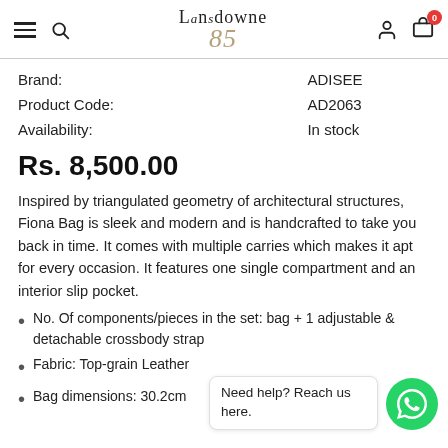Lansdowne 85
| Brand: | ADISEE |
| Product Code: | AD2063 |
| Availability: | In stock |
Rs. 8,500.00
Inspired by triangulated geometry of architectural structures, Fiona Bag is sleek and modern and is handcrafted to take you back in time. It comes with multiple carries which makes it apt for every occasion. It features one single compartment and an interior slip pocket.
No. Of components/pieces in the set: bag + 1 adjustable & detachable crossbody strap
Fabric: Top-grain Leather
Bag dimensions: 30.2cm